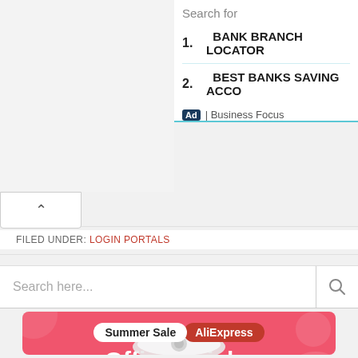Search for
1. BANK BRANCH LOCATOR
2. BEST BANKS SAVING ACCO...
Ad | Business Focus
FILED UNDER: LOGIN PORTALS
Search here...
[Figure (illustration): AliExpress Summer Sale banner showing 'Official picks' and 'Shop now' button with robot vacuum product image on pink background]